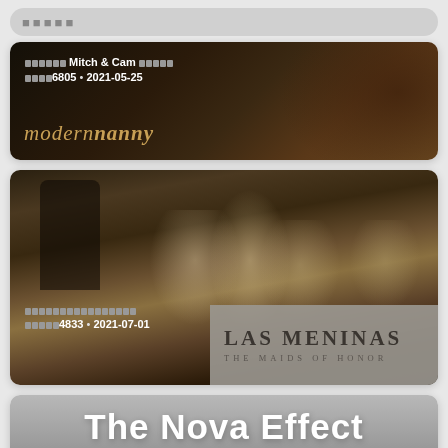[Figure (screenshot): Search bar UI element at top of page, gray rounded rectangle with dots placeholder]
[Figure (screenshot): Video thumbnail card: Modern Nanny - Mitch & Cam channel, views 6805, date 2021-05-25, dark background with orange/brown tones and italic logo text]
[Figure (screenshot): Video thumbnail card: Las Meninas painting, views 4833, date 2021-07-01, with overlay text 'LAS MENINAS THE MAIDS OF HONOR']
[Figure (screenshot): Video thumbnail card: The Nova Effect, gray gradient background with large white bold title text]